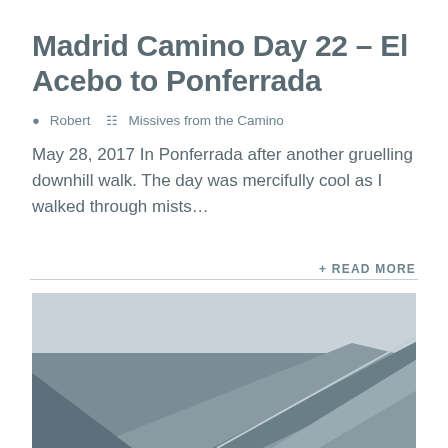Madrid Camino Day 22 – El Acebo to Ponferrada
Robert   Missives from the Camino
May 28, 2017 In Ponferrada after another gruelling downhill walk. The day was mercifully cool as I walked through mists…
+ READ MORE
[Figure (photo): Partial view of a building or structure with angular roof/walls visible against a pale grey sky, cropped at bottom of page]